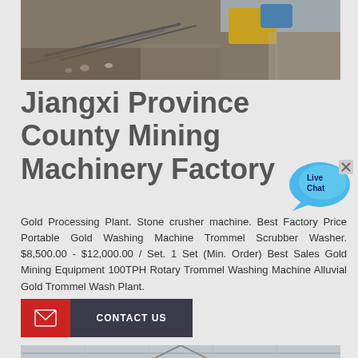[Figure (photo): Industrial mining machinery — conveyor belts and processing equipment with yellow and blue machines visible outdoors]
Jiangxi Province County Mining Machinery Factory
[Figure (other): Live Chat button overlay — blue speech bubble with 'Live Chat' text and a close X button]
Gold Processing Plant. Stone crusher machine. Best Factory Price Portable Gold Washing Machine Trommel Scrubber Washer. $8,500.00 - $12,000.00 / Set. 1 Set (Min. Order) Best Sales Gold Mining Equipment 100TPH Rotary Trommel Washing Machine Alluvial Gold Trommel Wash Plant.
[Figure (other): CONTACT US button with red mail icon box and dark grey label]
[Figure (photo): Interior of a large industrial factory/exhibition hall with machinery and cranes visible]